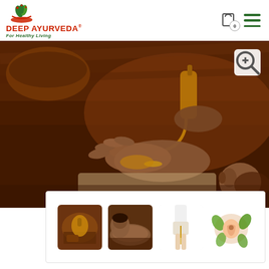[Figure (logo): Deep Ayurveda logo with leaf/herb icon, red bold text 'DEEP AYURVEDA®', green italic tagline 'For Healthy Living']
[Figure (photo): Main product photo: hands pouring golden Ayurvedic oil from a bottle into a palm, with a person lying down for massage treatment, warm brown tones]
[Figure (photo): Thumbnail 1: Ayurvedic oil bottle/ingredients on wooden surface]
[Figure (photo): Thumbnail 2: Person receiving Ayurvedic massage treatment]
[Figure (photo): Thumbnail 3: Person in white clothing showing slimmed waist with oil dropper]
[Figure (photo): Thumbnail 4: Stomach/digestive health illustration with herbs]